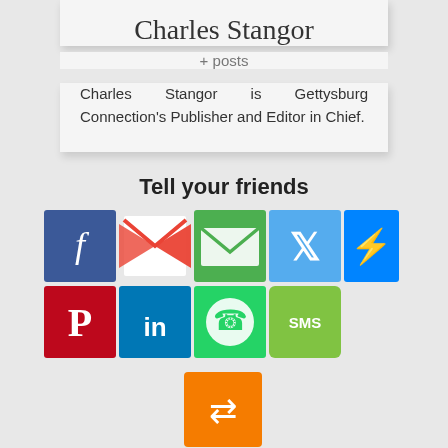Charles Stangor
+ posts
Charles Stangor is Gettysburg Connection's Publisher and Editor in Chief.
Tell your friends
[Figure (infographic): Social sharing icons: Facebook, Gmail, Email, Twitter, Messenger, Pinterest, LinkedIn, WhatsApp, SMS, and a generic share button]
WE RECOMMEND
[Figure (illustration): Rocket.net advertisement: Fastest WordPress Hosting Anywhere! with logo and dark background]